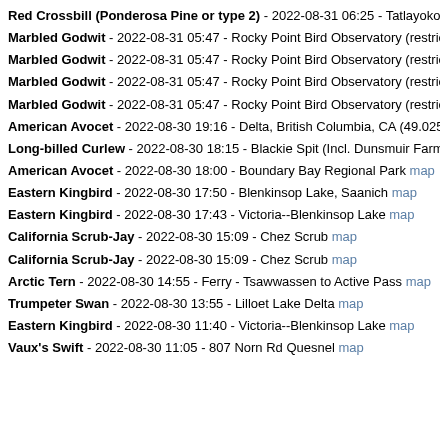Red Crossbill (Ponderosa Pine or type 2) - 2022-08-31 06:25 - Tatlayoko Lake
Marbled Godwit - 2022-08-31 05:47 - Rocky Point Bird Observatory (restricted a
Marbled Godwit - 2022-08-31 05:47 - Rocky Point Bird Observatory (restricted a
Marbled Godwit - 2022-08-31 05:47 - Rocky Point Bird Observatory (restricted a
Marbled Godwit - 2022-08-31 05:47 - Rocky Point Bird Observatory (restricted a
American Avocet - 2022-08-30 19:16 - Delta, British Columbia, CA (49.025, -12
Long-billed Curlew - 2022-08-30 18:15 - Blackie Spit (Incl. Dunsmuir Farm & Ni
American Avocet - 2022-08-30 18:00 - Boundary Bay Regional Park map
Eastern Kingbird - 2022-08-30 17:50 - Blenkinsop Lake, Saanich map
Eastern Kingbird - 2022-08-30 17:43 - Victoria--Blenkinsop Lake map
California Scrub-Jay - 2022-08-30 15:09 - Chez Scrub map
California Scrub-Jay - 2022-08-30 15:09 - Chez Scrub map
Arctic Tern - 2022-08-30 14:55 - Ferry - Tsawwassen to Active Pass map
Trumpeter Swan - 2022-08-30 13:55 - Lilloet Lake Delta map
Eastern Kingbird - 2022-08-30 11:40 - Victoria--Blenkinsop Lake map
Vaux's Swift - 2022-08-30 11:05 - 807 Norn Rd Quesnel map